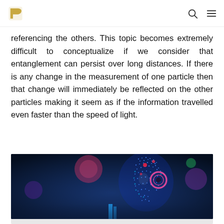referencing the others. This topic becomes extremely difficult to conceptualize if we consider that entanglement can persist over long distances. If there is any change in the measurement of one particle then that change will immediately be reflected on the other particles making it seem as if the information travelled even faster than the speed of light.
[Figure (illustration): Digital illustration of a human head made of glowing blue particles, shown in profile facing right, with neon pink/red circular elements and lens flares on a dark blue background.]